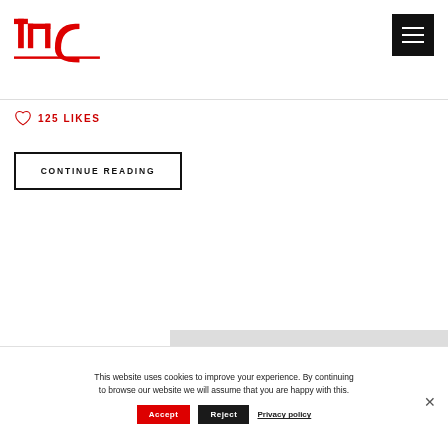tmc
125 LIKES
CONTINUE READING
This website uses cookies to improve your experience. By continuing to browse our website we will assume that you are happy with this.
Accept  Reject  Privacy policy